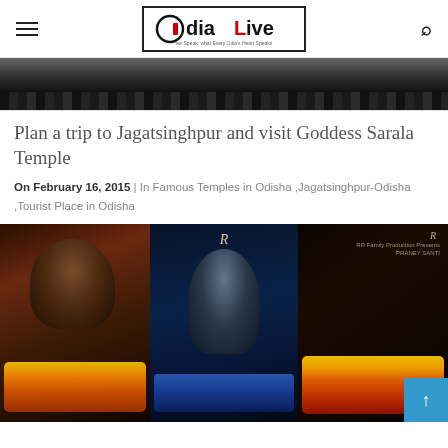OdiaLive — we Speak, what Every Odia's Heart Speaks
[Figure (photo): Dark banner image at top of article, showing a dimly lit scene with dark stripes at bottom]
Plan a trip to Jagatsinghpur and visit Goddess Sarala Temple
On February 16, 2015 | In Famous Temples in Odisha ,Jagatsinghpur-Odisha ,Tourist Place in Odisha
[Figure (photo): Three movie posters side by side showing stylized Odia script text with fire/action imagery on dark backgrounds]